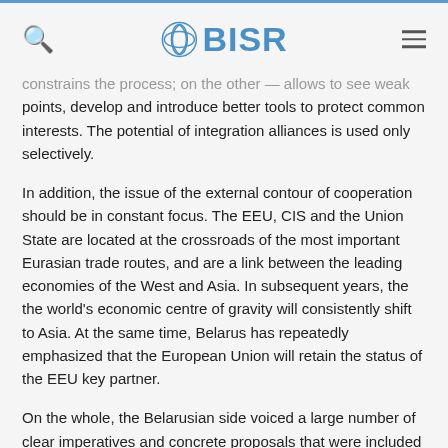BISR
constrains the process; on the other — allows to see weak points, develop and introduce better tools to protect common interests. The potential of integration alliances is used only selectively.
In addition, the issue of the external contour of cooperation should be in constant focus. The EEU, CIS and the Union State are located at the crossroads of the most important Eurasian trade routes, and are a link between the leading economies of the West and Asia. In subsequent years, the the world's economic centre of gravity will consistently shift to Asia. At the same time, Belarus has repeatedly emphasized that the European Union will retain the status of the EEU key partner.
On the whole, the Belarusian side voiced a large number of clear imperatives and concrete proposals that were included in the "Strategic directions for the development of